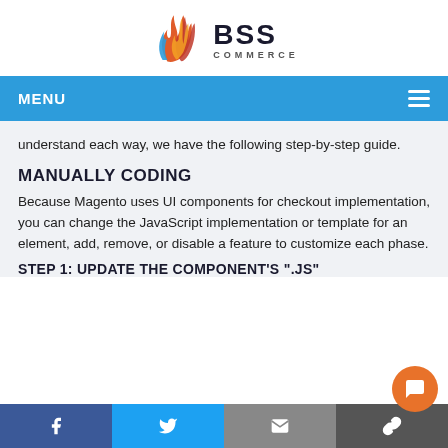[Figure (logo): BSS Commerce logo with flame icon]
MENU
understand each way, we have the following step-by-step guide.
MANUALLY CODING
Because Magento uses UI components for checkout implementation, you can change the JavaScript implementation or template for an element, add, remove, or disable a feature to customize each phase.
STEP 1: UPDATE THE COMPONENT'S ".JS"